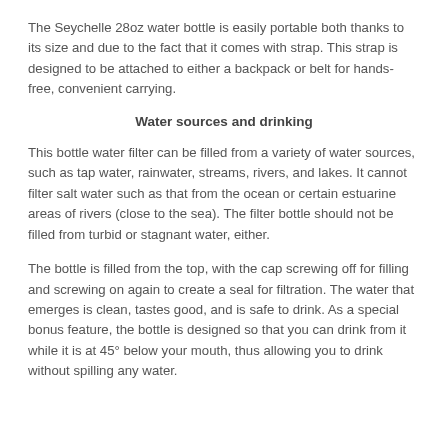The Seychelle 28oz water bottle is easily portable both thanks to its size and due to the fact that it comes with strap. This strap is designed to be attached to either a backpack or belt for hands-free, convenient carrying.
Water sources and drinking
This bottle water filter can be filled from a variety of water sources, such as tap water, rainwater, streams, rivers, and lakes. It cannot filter salt water such as that from the ocean or certain estuarine areas of rivers (close to the sea). The filter bottle should not be filled from turbid or stagnant water, either.
The bottle is filled from the top, with the cap screwing off for filling and screwing on again to create a seal for filtration. The water that emerges is clean, tastes good, and is safe to drink. As a special bonus feature, the bottle is designed so that you can drink from it while it is at 45° below your mouth, thus allowing you to drink without spilling any water.